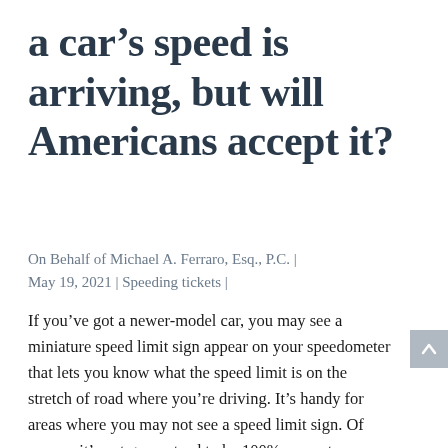a car's speed is arriving, but will Americans accept it?
On Behalf of Michael A. Ferraro, Esq., P.C. | May 19, 2021 | Speeding tickets |
If you've got a newer-model car, you may see a miniature speed limit sign appear on your speedometer that lets you know what the speed limit is on the stretch of road where you're driving. It's handy for areas where you may not see a speed limit sign. Of course, it's not guaranteed to be 100% accurate.